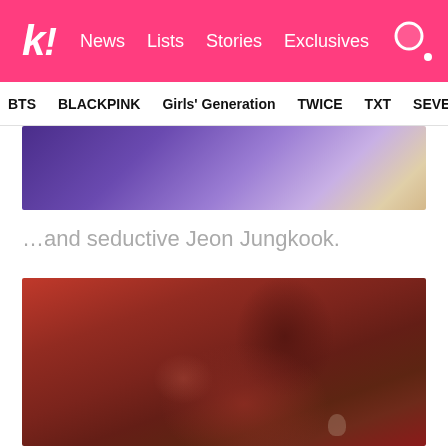k! News  Lists  Stories  Exclusives
BTS  BLACKPINK  Girls' Generation  TWICE  TXT  SEVE
[Figure (photo): Cropped image showing purple/blue fabric and a partially visible figure]
…and seductive Jeon Jungkook.
[Figure (photo): Photo of Jeon Jungkook wearing a red outfit with buttons, silver earrings, head tilted back with eyes closed, against a red background]